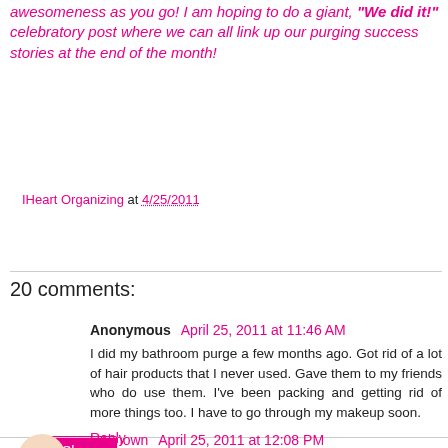awesomeness as you go!  I am hoping to do a giant, "We did it!" celebratory post where we can all link up our purging success stories at the end of the month!
IHeart Organizing at 4/25/2011
Share
20 comments:
Anonymous April 25, 2011 at 11:46 AM
I did my bathroom purge a few months ago. Got rid of a lot of hair products that I never used. Gave them to my friends who do use them. I've been packing and getting rid of more things too. I have to go through my makeup soon.
Reply
Unknown April 25, 2011 at 12:08 PM
$308, wow!! does this mean you're pardoning your